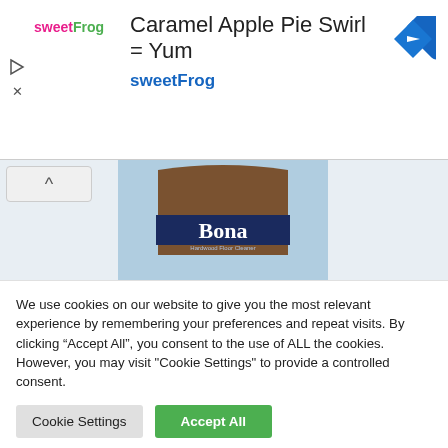[Figure (screenshot): Advertisement banner for sweetFrog featuring 'Caramel Apple Pie Swirl = Yum' text with sweetFrog logo and navigation icon]
[Figure (photo): Bona Hardwood Floor Cleaner product bottle/bag against light blue background]
We use cookies on our website to give you the most relevant experience by remembering your preferences and repeat visits. By clicking “Accept All”, you consent to the use of ALL the cookies. However, you may visit "Cookie Settings" to provide a controlled consent.